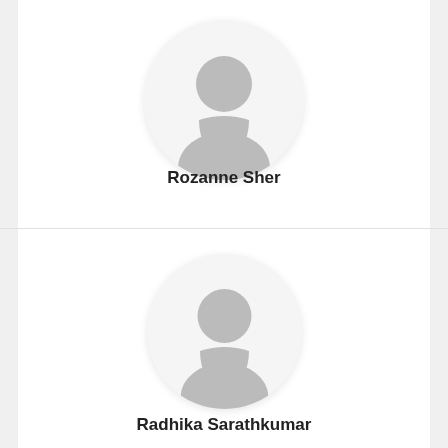[Figure (illustration): Default avatar placeholder icon for Rozanne Sher — circular grey silhouette of a person on white background]
Rozanne Sher
[Figure (illustration): Default avatar placeholder icon for Radhika Sarathkumar — circular grey silhouette of a person on white background]
Radhika Sarathkumar